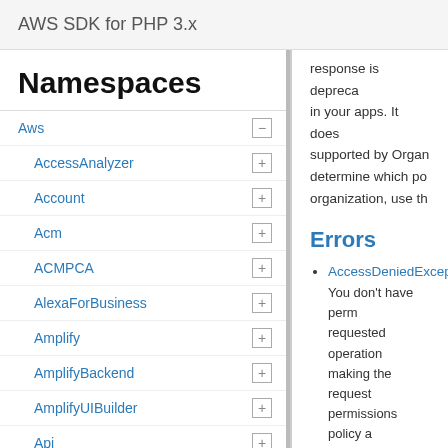AWS SDK for PHP 3.x
Namespaces
Aws
AccessAnalyzer
Account
Acm
ACMPCA
AlexaForBusiness
Amplify
AmplifyBackend
AmplifyUIBuilder
Api
ApiGateway
ApiGatewayManagementApi
response is deprecated in your apps. It does supported by Organization, use the determine which policies organization, use th
Errors
AccessDeniedException
You don't have permission to perform the requested operation. Check that the member account making the request has permissions policy attached. For the required permissions Access Management
AWSOrganizationsNotInManagementAccount
Your account isn't a management account. To make this request